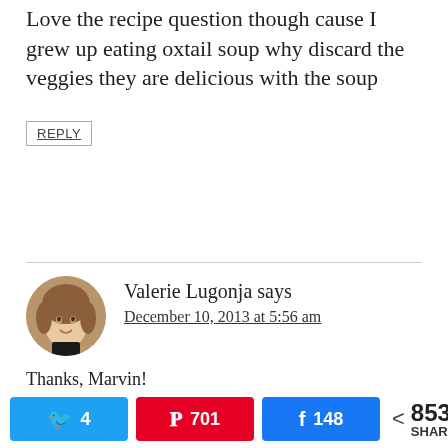Love the recipe question though cause I grew up eating oxtail soup why discard the veggies they are delicious with the soup
REPLY
Valerie Lugonja says
December 10, 2013 at 5:56 am
Thanks, Marvin! A simple recipe, but extraordinarily flavourful. Why toss the veggies? They have been spent. They have been cooked for so long and their
4  701  148  853 SHARES